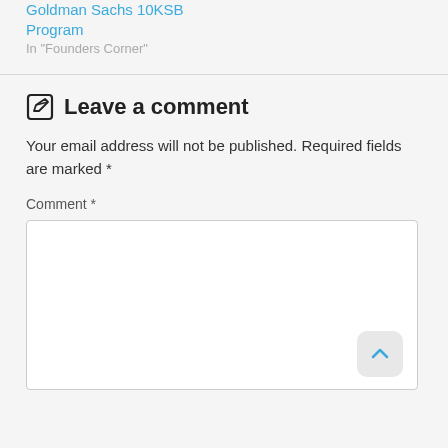Goldman Sachs 10KSB Program
In “Founders Corner”
Leave a comment
Your email address will not be published. Required fields are marked *
Comment *